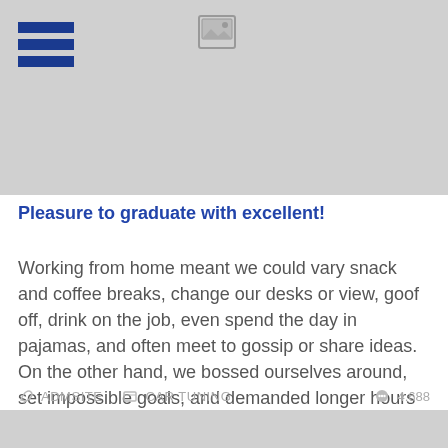[Figure (photo): Gray image placeholder with camera/image icon in center and hamburger menu icon in top-left corner]
Pleasure to graduate with excellent!
Working from home meant we could vary snack and coffee breaks, change our desks or view, goof off, drink on the job, even spend the day in pajamas, and often meet to gossip or share ideas. On the other hand, we bossed ourselves around, set impossible goals, and demanded longer hours than office jobs usually...
ADMSITE   CAR TUNING   4.688